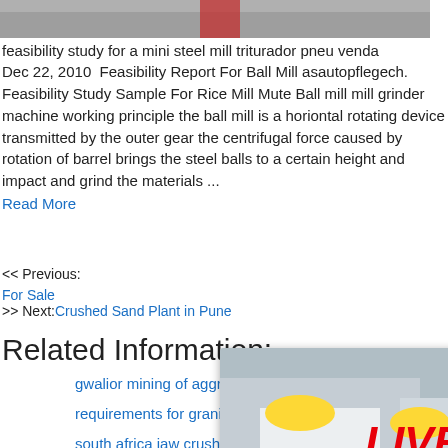[Figure (photo): Top partial image showing machinery or industrial equipment]
feasibility study for a mini steel mill triturador pneu venda
Dec 22, 2010  Feasibility Report For Ball Mill asautopflegech. Feasibility Study Sample For Rice Mill Mute Ball mill mill grinder machine working principle the ball mill is a horiontal rotating device transmitted by the outer gear the centrifugal force caused by rotation of barrel brings the steel balls to a certain height and impact and grind the materials ...
Read More
<< Previous:
For Sale
>> Next:Crushed Sand Plant in Pune
Related Information:
gwalior mining of aggregates
requirements for granite crusher pla...
south africa jaw crusher manufactu...
[Figure (screenshot): Live Chat popup overlay with workers in hard hats, showing LIVE CHAT title in red, Click for a Free Consultation subtitle, and Chat now / Chat later buttons]
[Figure (screenshot): Right sidebar showing blue background with hour online text, machinery image, Click me to chat>> button, Enquiry section, and limingjlmofen branding]